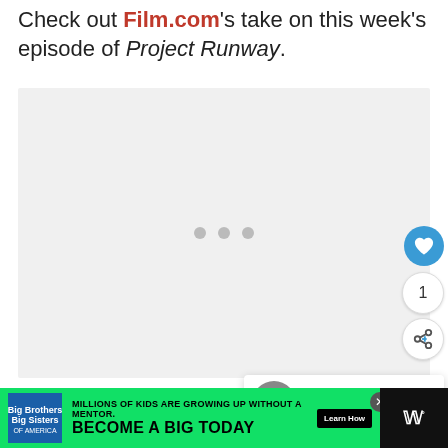Check out Film.com's take on this week's episode of Project Runway.
[Figure (other): Embedded video player area with light gray background and loading dots indicator]
[Figure (other): What's Next panel showing 'Project Runway'... thumbnail with uddy logo]
[Figure (other): Advertisement banner: Big Brothers Big Sisters - Millions of Kids Are Growing Up Without a Mentor. Become a Big Today. Learn How. On green background.]